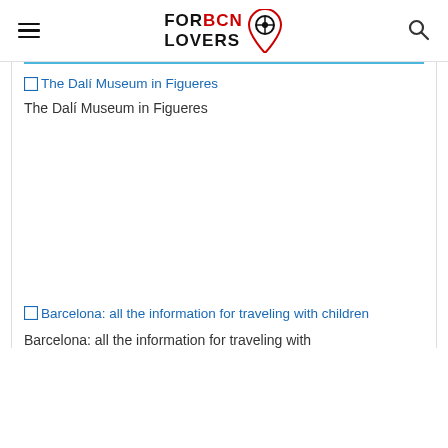FORBCN LOVERS
[Figure (screenshot): Broken image placeholder link: The Dalí Museum in Figueres]
The Dalí Museum in Figueres
[Figure (screenshot): Broken image placeholder link: Barcelona: all the information for traveling with children]
Barcelona: all the information for traveling with